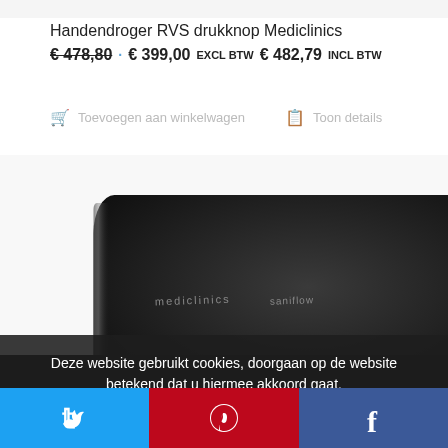Handendroger RVS drukknop Mediclinics
€ 478,80 · € 399,00 excl BTW € 482,79 incl BTW
Toevoegen aan winkelwagen   Toon details
[Figure (photo): Black hand dryer device (Mediclinics Saniflow) photographed from above at an angle, showing the top and front of the unit]
Deze website gebruikt cookies, doorgaan op de website betekend dat u hiermee akkoord gaat.
[Figure (infographic): Social media share bar with Twitter (blue), Pinterest (red), and Facebook (dark blue) buttons]